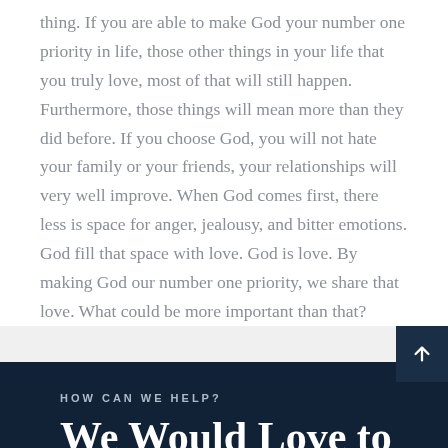thing.  If you are able to make God your number one priority in life, those other things in your life that you truly love, most of that will still happen.  Furthermore, those things will mean more than they did before.  If you choose God, you will not hate your family or your friends, your relationships will very well improve.  When God comes first, there less is space for anger, jealousy, and bitter emotions.  God fill that space with love. God is love.  By making God our number one priority, we share that love.  What could be more important than that?
HOW CAN WE HELP?
We Would Love to